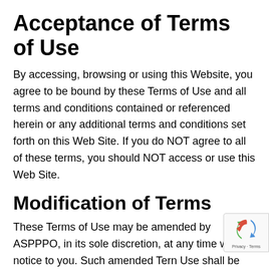Acceptance of Terms of Use
By accessing, browsing or using this Website, you agree to be bound by these Terms of Use and all terms and conditions contained or referenced herein or any additional terms and conditions set forth on this Web Site. If you do NOT agree to all of these terms, you should NOT access or use this Web Site.
Modification of Terms
These Terms of Use may be amended by ASPPPO, in its sole discretion, at any time without notice to you. Such amended Terms of Use shall be effective upon posting. By continuing to access or use this Web Site...